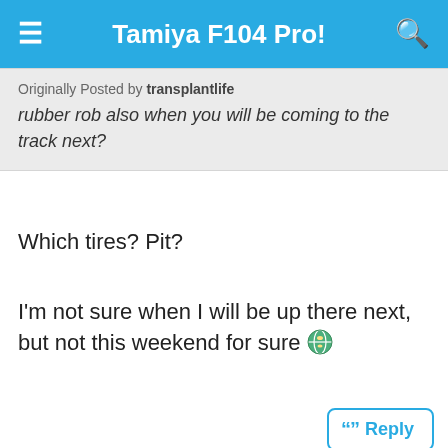Tamiya F104 Pro!
Originally Posted by transplantlife
rubber rob also when you will be coming to the track next?
Which tires? Pit?
I'm not sure when I will be up there next, but not this weekend for sure 🌐
[Figure (screenshot): Video media player with error overlay: 'The media could not be loaded, either because the server or network failed or because the format is not supported.' Dark background showing a moonrise image. Text visible on right: 'Over the Moon!', 'Spectacular Footage', 'Shows Moon Rising', 'Over the Mountain i...' Close X button in top right, large X dismiss at bottom center.]
Originally Posted by rubR
Which tires? Pit?